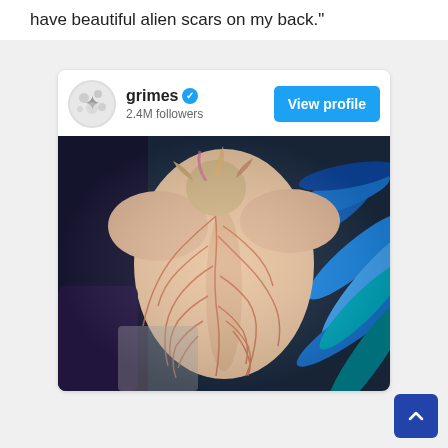have beautiful alien scars on my back."
[Figure (screenshot): Instagram-style profile card for 'grimes' with verified badge, 2.4M followers, a 'View profile' button in blue, and a photo of a person's back showing elaborate scar or tattoo markings against a blue tropical plant background.]